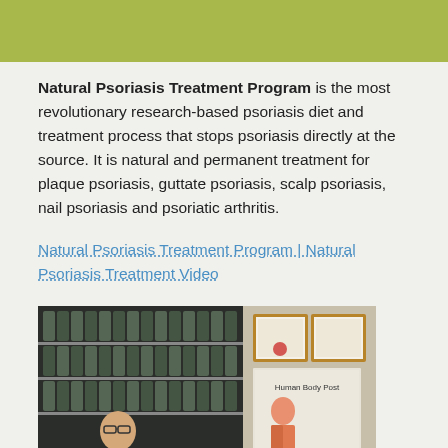[Figure (other): Green decorative header bar]
Natural Psoriasis Treatment Program is the most revolutionary research-based psoriasis diet and treatment process that stops psoriasis directly at the source. It is natural and permanent treatment for plaque psoriasis, guttate psoriasis, scalp psoriasis, nail psoriasis and psoriatic arthritis.
Natural Psoriasis Treatment Program | Natural Psoriasis Treatment Video
[Figure (photo): A man in a suit and tie standing in front of a shelf of supplement bottles, with framed certificates and a Human Body poster visible to the right.]